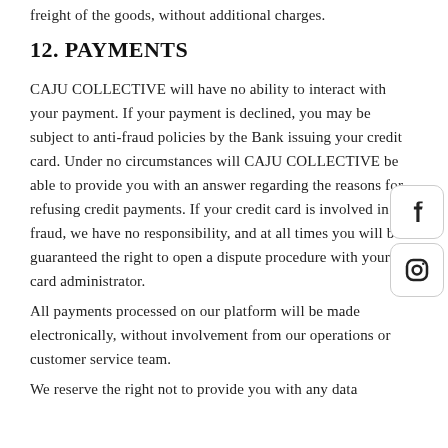freight of the goods, without additional charges.
12. PAYMENTS
CAJU COLLECTIVE will have no ability to interact with your payment. If your payment is declined, you may be subject to anti-fraud policies by the Bank issuing your credit card. Under no circumstances will CAJU COLLECTIVE be able to provide you with an answer regarding the reasons for refusing credit payments. If your credit card is involved in fraud, we have no responsibility, and at all times you will be guaranteed the right to open a dispute procedure with your card administrator.
All payments processed on our platform will be made electronically, without involvement from our operations or customer service team.
We reserve the right not to provide you with any data